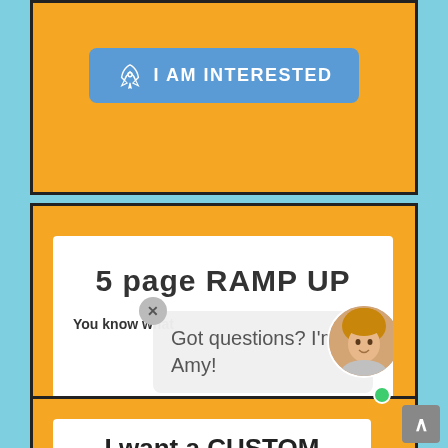[Figure (screenshot): Top orange section with a blue 'I AM INTERESTED' button with rocket icon]
[Figure (screenshot): Middle orange section with a white card showing '5 page RAMP UP' heading and 'You know what' text, overlaid by a chat popup saying 'Got questions? I'm Amy!' with a close X button and Amy's avatar photo with green online dot, and a second 'I AM INTERESTED' blue button below]
Got questions? I'm Amy!
I want a CUSTOM DESIGN
A one of a kind custom designed website